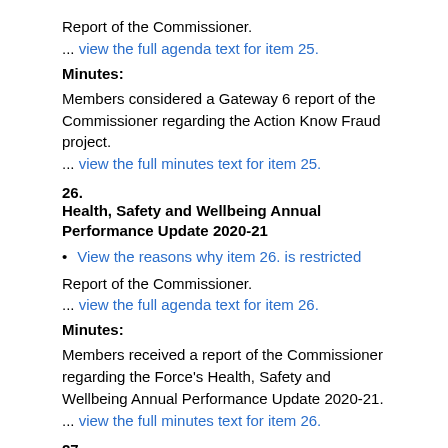Report of the Commissioner.
...  view the full agenda text for item 25.
Minutes:
Members considered a Gateway 6 report of the Commissioner regarding the Action Know Fraud project.
...  view the full minutes text for item 25.
26.
Health, Safety and Wellbeing Annual Performance Update 2020-21
View the reasons why item 26. is restricted
Report of the Commissioner.
...  view the full agenda text for item 26.
Minutes:
Members received a report of the Commissioner regarding the Force's Health, Safety and Wellbeing Annual Performance Update 2020-21.
...  view the full minutes text for item 26.
27.
City of London Police Risk Register Update